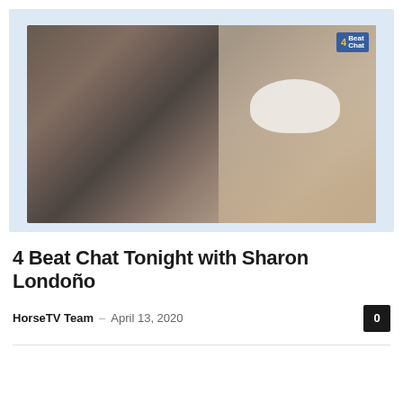[Figure (photo): A person wearing a white cowboy hat smiling next to a dark horse, with a '4 Beat Chat' logo badge in the upper right corner of the image thumbnail.]
4 Beat Chat Tonight with Sharon Londoño
HorseTV Team – April 13, 2020